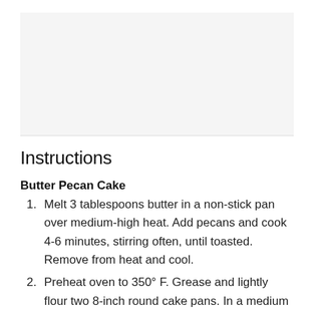[Figure (photo): Image placeholder area at top of page, light gray background]
Instructions
Butter Pecan Cake
Melt 3 tablespoons butter in a non-stick pan over medium-high heat. Add pecans and cook 4-6 minutes, stirring often, until toasted. Remove from heat and cool.
Preheat oven to 350° F. Grease and lightly flour two 8-inch round cake pans. In a medium bowl, stir together flour, baking